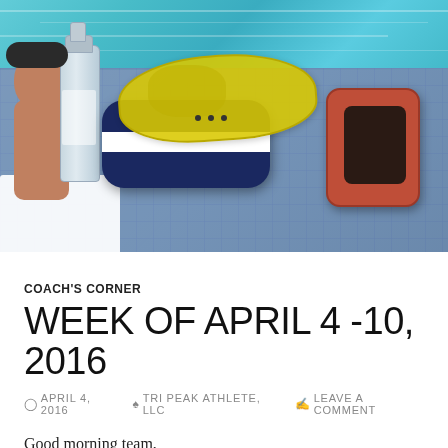[Figure (photo): Swimming pool deck scene with blue tile surface. In the foreground: a navy blue and white pull buoy/kickboard with yellow swim goggles resting on top, and an orange/red ankle strap to the right. On the left side: a clear water bottle and a swimmer visible at pool edge wearing dark goggles. White towel visible at lower left.]
COACH'S CORNER
WEEK OF APRIL 4 -10, 2016
APRIL 4, 2016   TRI PEAK ATHLETE, LLC   LEAVE A COMMENT
Good morning team,